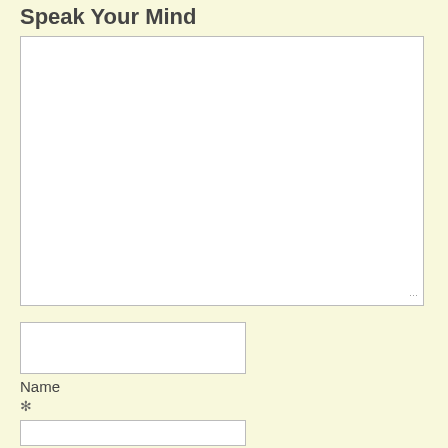Speak Your Mind
[Figure (other): Large empty text input/textarea with a resize handle in the bottom-right corner]
[Figure (other): Name text input field (smaller, single-line style)]
Name
*
[Figure (other): Another text input field partially visible at the bottom of the page]